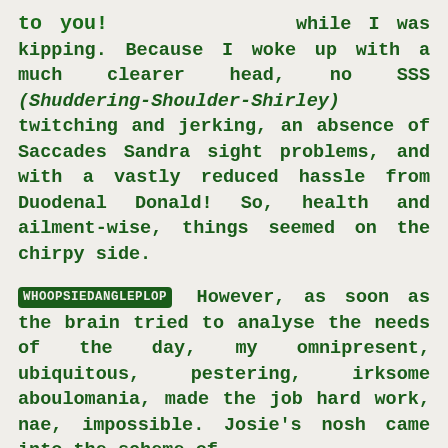to you! while I was kipping. Because I woke up with a much clearer head, no SSS (Shuddering-Shoulder-Shirley) twitching and jerking, an absence of Saccades Sandra sight problems, and with a vastly reduced hassle from Duodenal Donald! So, health and ailment-wise, things seemed on the chirpy side.
WHOOPSIEDANGLEPLOP However, as soon as the brain tried to analyse the needs of the day, my omnipresent, ubiquitous, pestering, irksome aboulomania, made the job hard work, nae, impossible. Josie's nosh came into the scheme of